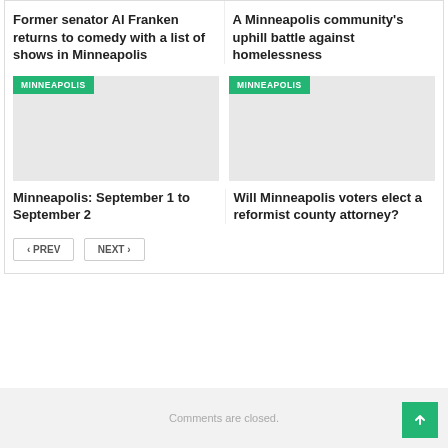Former senator Al Franken returns to comedy with a list of shows in Minneapolis
A Minneapolis community's uphill battle against homelessness
[Figure (photo): Gray placeholder image with MINNEAPOLIS green tag badge]
[Figure (photo): Gray placeholder image with MINNEAPOLIS green tag badge]
Minneapolis: September 1 to September 2
Will Minneapolis voters elect a reformist county attorney?
< PREV
NEXT >
Comments are closed.